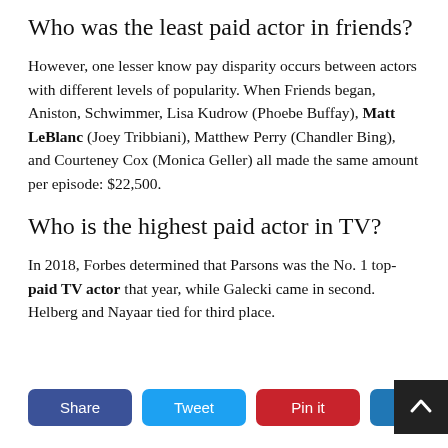Who was the least paid actor in friends?
However, one lesser know pay disparity occurs between actors with different levels of popularity. When Friends began, Aniston, Schwimmer, Lisa Kudrow (Phoebe Buffay), Matt LeBlanc (Joey Tribbiani), Matthew Perry (Chandler Bing), and Courteney Cox (Monica Geller) all made the same amount per episode: $22,500.
Who is the highest paid actor in TV?
In 2018, Forbes determined that Parsons was the No. 1 top-paid TV actor that year, while Galecki came in second. Helberg and Nayaar tied for third place.
Share  Tweet  Pin it  LinkedIn